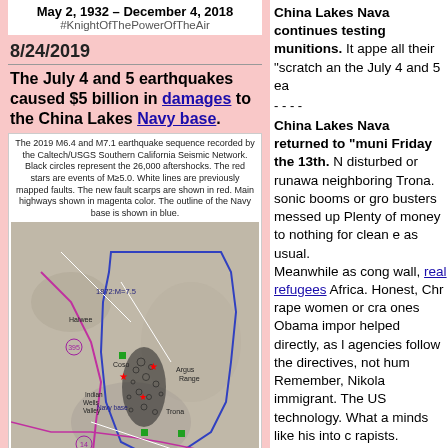May 2, 1932 – December 4, 2018
#KnightOfThePowerOfTheAir
8/24/2019
The July 4 and 5 earthquakes caused $5 billion in damages to the China Lakes Navy base.
[Figure (map): The 2019 M6.4 and M7.1 earthquake sequence recorded by the Caltech/USGS Southern California Seismic Network. Black circles represent the 26,000 aftershocks. The red stars are events of M≥5.0. White lines are previously mapped faults. The new fault scarps are shown in red. Main highways shown in magenta color. The outline of the Navy base is shown in blue. Map shows Ridgecrest, Argus Range, Coso, Indian Wells Valley, Trona, and Garlock Fault area.]
China Lakes Naval Air Weapons Station continues testing and recovering munitions. It appe all their "scratch an the July 4 and 5 ea
- - - -
China Lakes Naval returned to "muni Friday the 13th. N disturbed or runawa neighboring Trona. sonic booms or gro busters messed up Plenty of money to nothing for clean e as usual.
Meanwhile as cong wall, real refugees Africa. Honest, Chr rape women or cra ones Obama impor helped directly, as l agencies follow the directives, not hum Remember, Nikola immigrant. The US technology. What a minds like his into c rapists.
We are working di